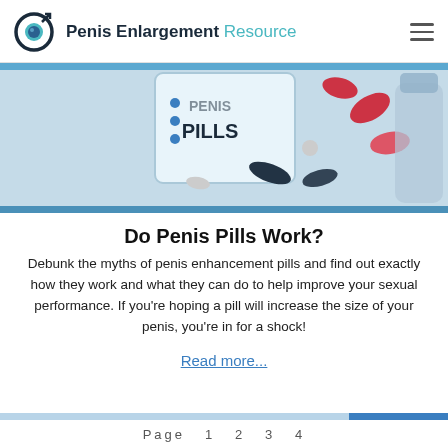Penis Enlargement Resource
[Figure (illustration): Illustration of pills labeled 'PENIS PILLS' with colorful capsules scattered around, on a light blue background.]
Do Penis Pills Work?
Debunk the myths of penis enhancement pills and find out exactly how they work and what they can do to help improve your sexual performance. If you're hoping a pill will increase the size of your penis, you're in for a shock!
Read more...
Page 1 2 3 4